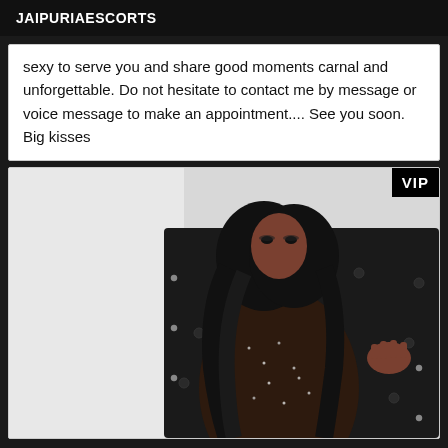JAIPURIAESCORTS
sexy to serve you and share good moments carnal and unforgettable. Do not hesitate to contact me by message or voice message to make an appointment.... See you soon. Big kisses
[Figure (photo): A woman with long dark curly hair wearing a dark sheer embellished long-sleeve dress, posed on a black tufted leather couch/headboard, looking to the side. VIP badge in top-right corner.]